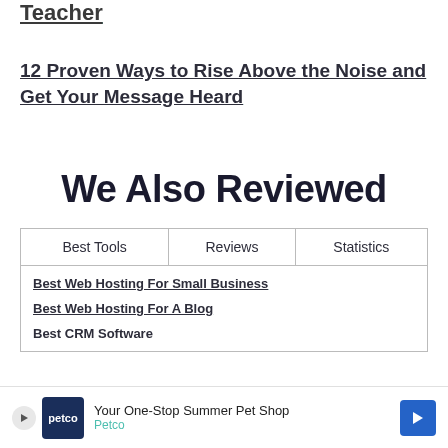Teacher
12 Proven Ways to Rise Above the Noise and Get Your Message Heard
We Also Reviewed
| Best Tools | Reviews | Statistics |
| --- | --- | --- |
| Best Web Hosting For Small Business
Best Web Hosting For A Blog
Best CRM Software |  |  |
[Figure (infographic): Advertisement banner for Petco - Your One-Stop Summer Pet Shop]